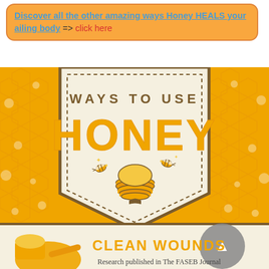Discover all the other amazing ways Honey HEALS your ailing body => click here
[Figure (infographic): Ways to Use Honey infographic. Large banner-style graphic with honeycomb orange background on sides, central cream-colored shield/badge shape with dashed border. Title says 'WAYS TO USE' in brown and large 'HONEY' in golden-yellow letters. Below the text is an illustrated beehive with two bees. Bottom section begins 'CLEAN WOUNDS' in bold orange with text 'Research published in The FASEB Journal']